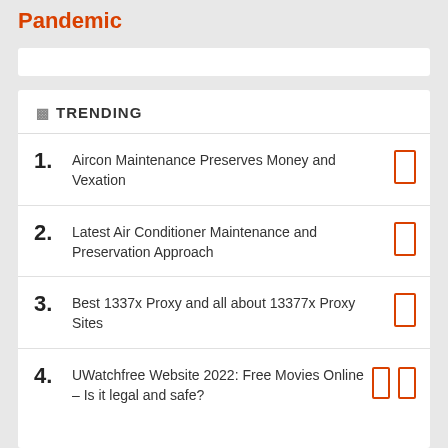Pandemic
🔥 TRENDING
1. Aircon Maintenance Preserves Money and Vexation
2. Latest Air Conditioner Maintenance and Preservation Approach
3. Best 1337x Proxy and all about 13377x Proxy Sites
4. UWatchfree Website 2022: Free Movies Online – Is it legal and safe?